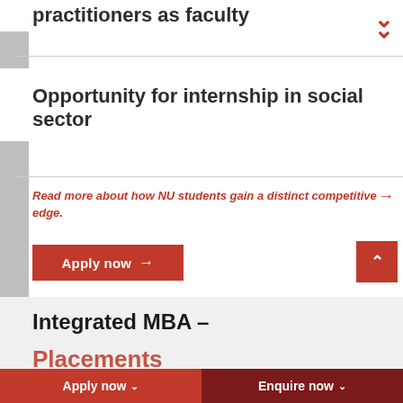practitioners as faculty
Opportunity for internship in social sector
Read more about how NU students gain a distinct competitive edge.
Apply now →
Integrated MBA –
Placements
Apply now ∨   Enquire now ∨